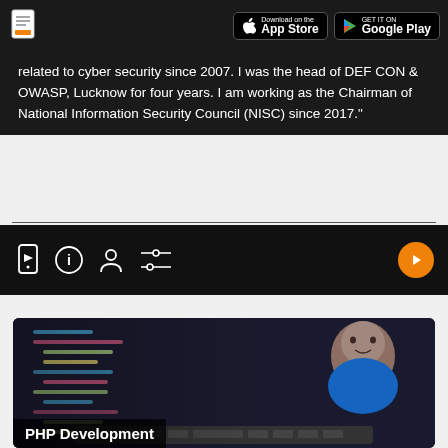Download on the App Store | GET IT ON Google Play
related to cyber security since 2007. I was the head of DEF CON & OWASP, Lucknow for four years. I am working as the Chairman of National Information Security Council (NISC) since 2017.
[Figure (screenshot): Media player control bar with icons: phone/video, info, person, settings, and an orange play button on the right]
[Figure (photo): Course card showing a laptop with code on screen and a man's photo in the corner, labeled PHP Development]